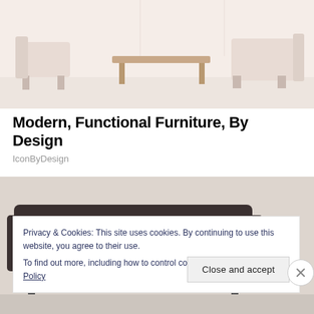[Figure (photo): Light and airy furniture showroom photo showing wooden chairs and a bench against a pale background, very light pinkish-beige tones.]
Modern, Functional Furniture, By Design
IconByDesign
[Figure (photo): Dark tufted sofa or chair partially visible, dark fabric against a lighter background.]
Privacy & Cookies: This site uses cookies. By continuing to use this website, you agree to their use.
To find out more, including how to control cookies, see here: Cookie Policy
Close and accept